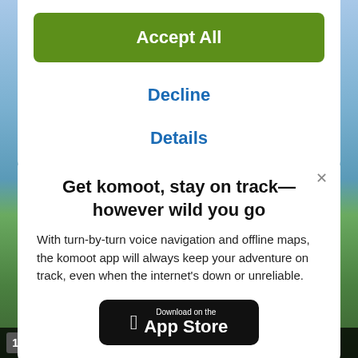Accept All
Decline
Details
Get komoot, stay on track—however wild you go
With turn-by-turn voice navigation and offline maps, the komoot app will always keep your adventure on track, even when the internet's down or unreliable.
[Figure (screenshot): Download on the App Store button (black rounded rectangle with Apple logo)]
View over Veetaugava bridge